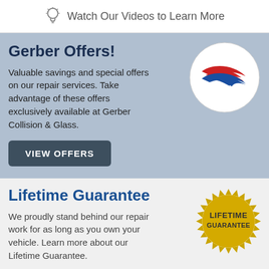Watch Our Videos to Learn More
Gerber Offers!
Valuable savings and special offers on our repair services. Take advantage of these offers exclusively available at Gerber Collision & Glass.
[Figure (logo): Gerber Collision & Glass logo — red and blue chevron arrows on white circle]
VIEW OFFERS
Lifetime Guarantee
We proudly stand behind our repair work for as long as you own your vehicle. Learn more about our Lifetime Guarantee.
[Figure (logo): Gold starburst badge with text LIFETIME GUARANTEE]
GUARANTEE